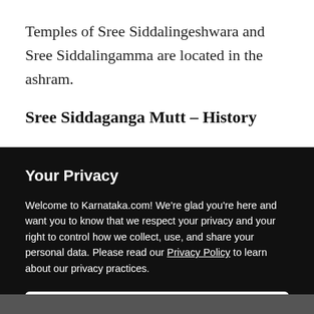Temples of Sree Siddalingeshwara and Sree Siddalingamma are located in the ashram.
Sree Siddaganga Mutt – History
The Sree Siddaganga Mutt was established in the
Your Privacy
Welcome to Karnataka.com! We're glad you're here and want you to know that we respect your privacy and your right to control how we collect, use, and share your personal data. Please read our Privacy Policy to learn about our privacy practices.
I UNDERSTAND